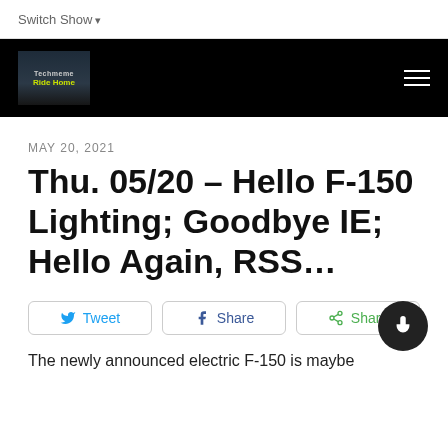Switch Show
[Figure (logo): Techmeme Ride Home podcast logo — dark background with yellow-green 'Ride Home' text]
MAY 20, 2021
Thu. 05/20 – Hello F-150 Lighting; Goodbye IE; Hello Again, RSS...
Tweet  Share  Share
The newly announced electric F-150 is maybe